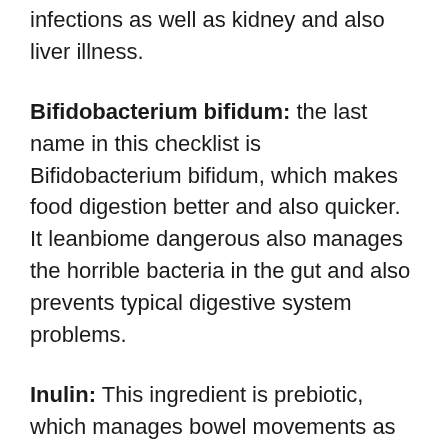infections as well as kidney and also liver illness.
Bifidobacterium bifidum: the last name in this checklist is Bifidobacterium bifidum, which makes food digestion better and also quicker. It leanbiome dangerous also manages the horrible bacteria in the gut and also prevents typical digestive system problems.
Inulin: This ingredient is prebiotic, which manages bowel movements as well as help in food digestion. Without inulin, issues such as windiness, irregular bowel movements, as well as acidity may appear, making food digestion awkward. Along with that, inulin helps in the development and spread of probiotic microorganisms and contributes along with them in maintaining